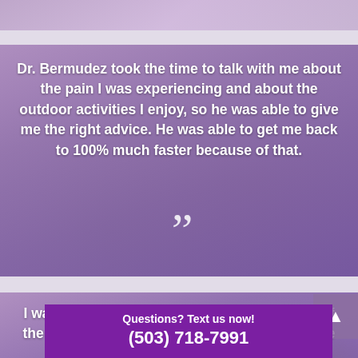[Figure (photo): Top portion of a photo, partially visible at top of page, showing indistinct figures or scenery with purple/lavender overlay]
Dr. Bermudez took the time to talk with me about the pain I was experiencing and about the outdoor activities I enjoy, so he was able to give me the right advice. He was able to get me back to 100% much faster because of that.
[Figure (photo): Background photo of cyclists on a dirt trail with purple/lavender color overlay]
I was struggling at work because of overuse of the mouse and keyboard. Dr. Bermudez got me back into things quickly
Questions? Text us now!
(503) 718-7991